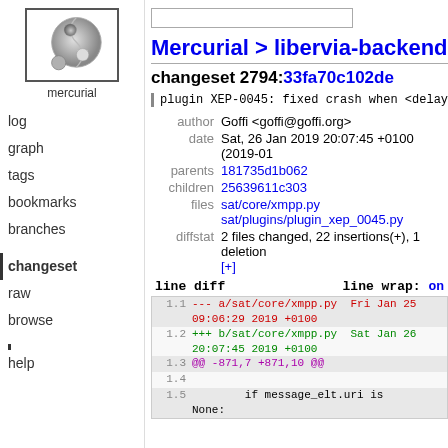[Figure (logo): Mercurial logo: grey yin-yang style orb graphic]
mercurial
log
graph
tags
bookmarks
branches
changeset
raw
browse
help
Mercurial > libervia-backend
changeset 2794:33fa70c102de
plugin XEP-0045: fixed crash when <delay>
| key | value |
| --- | --- |
| author | Goffi <goffi@goffi.org> |
| date | Sat, 26 Jan 2019 20:07:45 +0100 (2019-01 |
| parents | 181735d1b062 |
| children | 25639611c303 |
| files | sat/core/xmpp.py
sat/plugins/plugin_xep_0045.py |
| diffstat | 2 files changed, 22 insertions(+), 1 deletion
[+] |
line diff    line wrap: on
1.1  --- a/sat/core/xmpp.py   Fri Jan 25 09:06:29 2019 +0100
1.2  +++ b/sat/core/xmpp.py   Sat Jan 26 20:07:45 2019 +0100
1.3  @@ -871,7 +871,10 @@
1.4
1.5      if message_elt.uri is None: